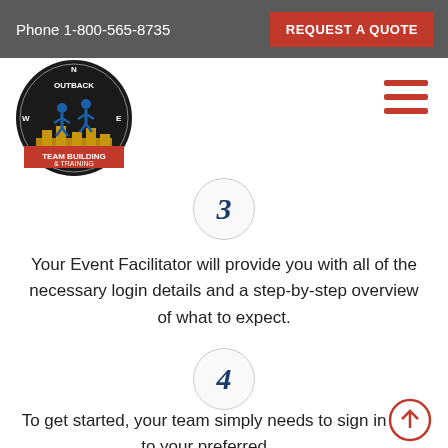Phone 1-800-565-8735   REQUEST A QUOTE
[Figure (logo): Outback Team Building & Training circular logo with people figures and compass design]
[Figure (illustration): Hamburger menu icon — three horizontal red bars]
3 — Your Event Facilitator will provide you with all of the necessary login details and a step-by-step overview of what to expect.
4 — To get started, your team simply needs to sign in to your preferred